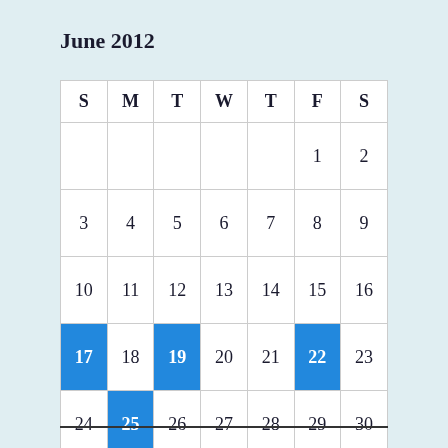June 2012
| S | M | T | W | T | F | S |
| --- | --- | --- | --- | --- | --- | --- |
|  |  |  |  |  | 1 | 2 |
| 3 | 4 | 5 | 6 | 7 | 8 | 9 |
| 10 | 11 | 12 | 13 | 14 | 15 | 16 |
| 17 | 18 | 19 | 20 | 21 | 22 | 23 |
| 24 | 25 | 26 | 27 | 28 | 29 | 30 |
« May    Jul »